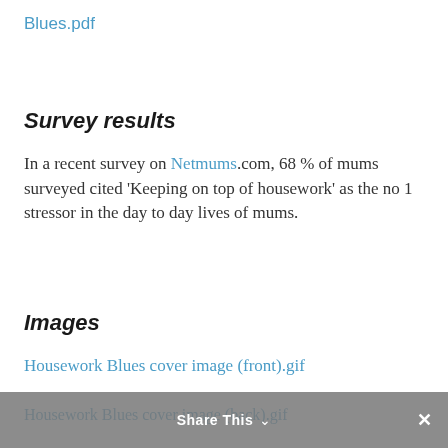Blues.pdf
Survey results
In a recent survey on Netmums.com, 68 % of mums surveyed cited ‘Keeping on top of housework’ as the no 1 stressor in the day to day lives of mums.
Images
Housework Blues cover image (front).gif
Share This
Housework Blues cover image (back).gif